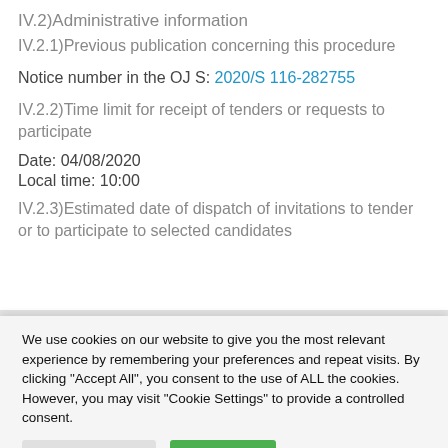IV.2)Administrative information
IV.2.1)Previous publication concerning this procedure
Notice number in the OJ S: 2020/S 116-282755
IV.2.2)Time limit for receipt of tenders or requests to participate
Date: 04/08/2020
Local time: 10:00
IV.2.3)Estimated date of dispatch of invitations to tender or to participate to selected candidates
We use cookies on our website to give you the most relevant experience by remembering your preferences and repeat visits. By clicking "Accept All", you consent to the use of ALL the cookies. However, you may visit "Cookie Settings" to provide a controlled consent.